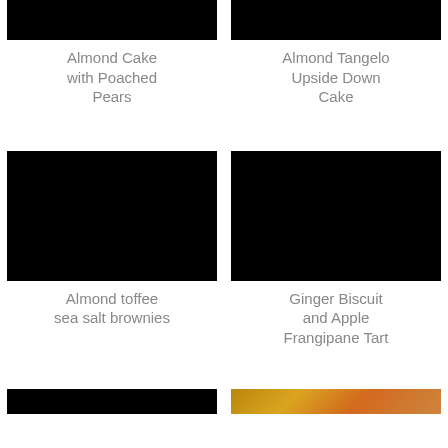[Figure (photo): Black image placeholder for Almond Cake with Poached Pears (top crop)]
Almond Cake with Poached Pears
[Figure (photo): Black image placeholder for Almond Tangelo Upside Down Cake (top crop)]
Almond Tangelo Upside Down Cake
[Figure (photo): Black image placeholder for Almond toffee sea salt brownies]
Almond toffee sea salt brownies
[Figure (photo): Black image placeholder for Ginger Biscuit and Apple Frangipane Tart]
Ginger Biscuit and Apple Frangipane Tart
[Figure (photo): Black image strip at bottom left]
[Figure (photo): Colored/food photo strip at bottom right]